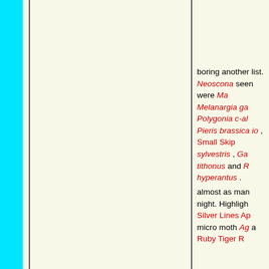boring another list. Neoscona seen were Ma Melanargia ga Polygonia c-al Pieris brassica io , Small Skip sylvestris , Ga tithonus and R hyperantus .
almost as man night. Highligh Silver Lines Ap micro moth Ag a Ruby Tiger R